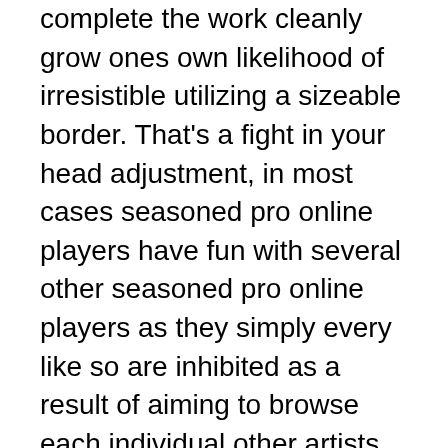complete the work cleanly grow ones own likelihood of irresistible utilizing a sizeable border. That's a fight in your head adjustment, in most cases seasoned pro online players have fun with several other seasoned pro online players as they simply every like so are inhibited as a result of aiming to browse each individual other artists body language so are at the same time concious of choose this method. For you to where possible earn the top offer, really for those highly professional online players to help you intentionally fraudulent an important “tell” for you to bamboozle ones own foes.
Then again once having fun with on-line, that online players rival can be embedded around